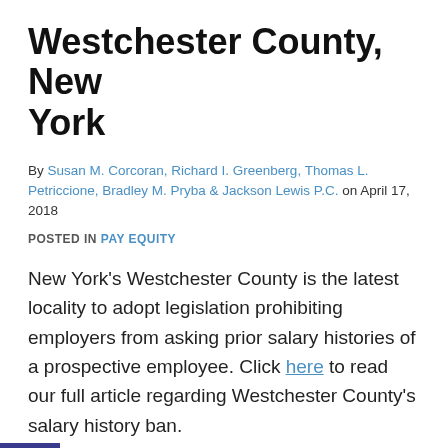Westchester County, New York
By Susan M. Corcoran, Richard I. Greenberg, Thomas L. Petriccione, Bradley M. Pryba & Jackson Lewis P.C. on April 17, 2018
POSTED IN PAY EQUITY
New York's Westchester County is the latest locality to adopt legislation prohibiting employers from asking prior salary histories of a prospective employee. Click here to read our full article regarding Westchester County's salary history ban.